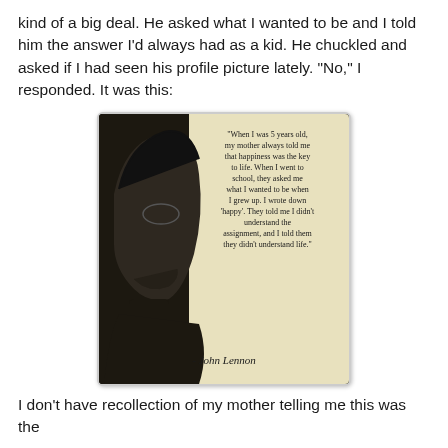kind of a big deal. He asked what I wanted to be and I told him the answer I'd always had as a kid. He chuckled and asked if I had seen his profile picture lately. "No," I responded. It was this:
[Figure (photo): A social media image showing a silhouette/profile photo of John Lennon on a sepia-toned background with a quote: 'When I was 5 years old, my mother always told me that happiness was the key to life. When I went to school, they asked me what I wanted to be when I grew up. I wrote down 'happy'. They told me I didn't understand the assignment, and I told them they didn't understand life.' - John Lennon]
I don't have recollection of my mother telling me this was the